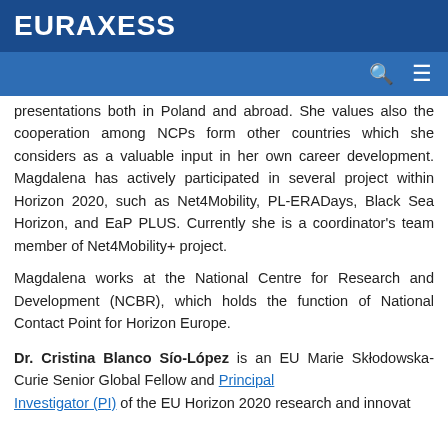EURAXESS
presentations both in Poland and abroad. She values also the cooperation among NCPs form other countries which she considers as a valuable input in her own career development. Magdalena has actively participated in several project within Horizon 2020, such as Net4Mobility, PL-ERADays, Black Sea Horizon, and EaP PLUS. Currently she is a coordinator's team member of Net4Mobility+ project.
Magdalena works at the National Centre for Research and Development (NCBR), which holds the function of National Contact Point for Horizon Europe.
Dr. Cristina Blanco Sío-López is an EU Marie Skłodowska-Curie Senior Global Fellow and Principal Investigator (PI) of the EU Horizon 2020 research and innovation programme…